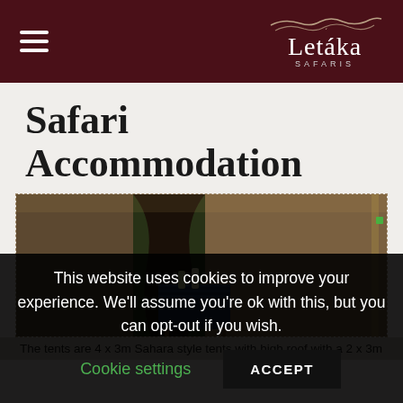Letáka SAFARIS
Safari Accommodation
[Figure (photo): Safari tent - 4x3m Sahara style tent with high roof, showing entrance with patterned table and toiletry items inside]
The tents are 4 x 3m Sahara style tents with high roof with a 2 x 3m
This website uses cookies to improve your experience. We'll assume you're ok with this, but you can opt-out if you wish.
Cookie settings    ACCEPT